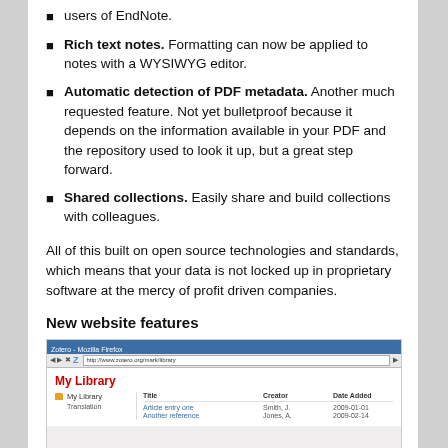users of EndNote.
Rich text notes. Formatting can now be applied to notes with a WYSIWYG editor.
Automatic detection of PDF metadata. Another much requested feature. Not yet bulletproof because it depends on the information available in your PDF and the repository used to look it up, but a great step forward.
Shared collections. Easily share and build collections with colleagues.
All of this built on open source technologies and standards, which means that your data is not locked up in proprietary software at the mercy of profit driven companies.
New website features
[Figure (screenshot): Screenshot of Zotero website showing 'My Library' page in Mozilla Firefox browser with columns for Title, Creator, Date Added and a sidebar with My Library and Translation entries.]